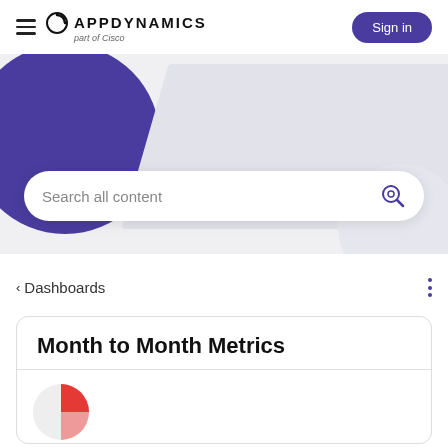APPDYNAMICS part of Cisco | Sign in
[Figure (screenshot): AppDynamics navigation header with hamburger menu, logo, and Sign in button]
[Figure (illustration): Hero banner with purple circle, light gray parallelogram shape, and light circle decorations]
Search all content
< Dashboards
Month to Month Metrics